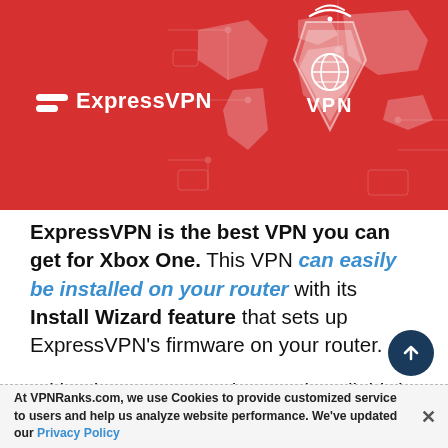[Figure (illustration): ExpressVPN banner with red background, ExpressVPN logo on left, VPN shield graphic with wifi symbol and world map on right]
ExpressVPN is the best VPN you can get for Xbox One. This VPN can easily be installed on your router with its Install Wizard feature that sets up ExpressVPN's firmware on your router.
With other VPNs, you have to install third-part
At VPNRanks.com, we use Cookies to provide customized service to users and help us analyze website performance. We've updated our Privacy Policy